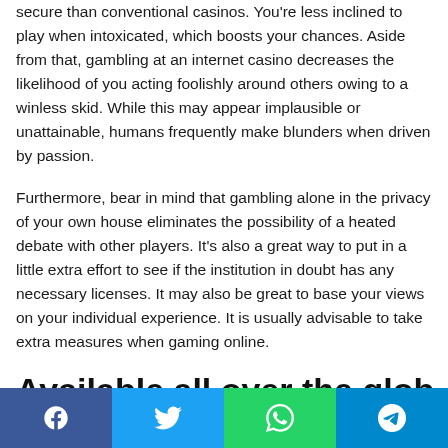secure than conventional casinos. You're less inclined to play when intoxicated, which boosts your chances. Aside from that, gambling at an internet casino decreases the likelihood of you acting foolishly around others owing to a winless skid. While this may appear implausible or unattainable, humans frequently make blunders when driven by passion.
Furthermore, bear in mind that gambling alone in the privacy of your own house eliminates the possibility of a heated debate with other players. It's also a great way to put in a little extra effort to see if the institution in doubt has any necessary licenses. It may also be great to base your views on your individual experience. It is usually advisable to take extra measures when gaming online.
Available all over the globe...